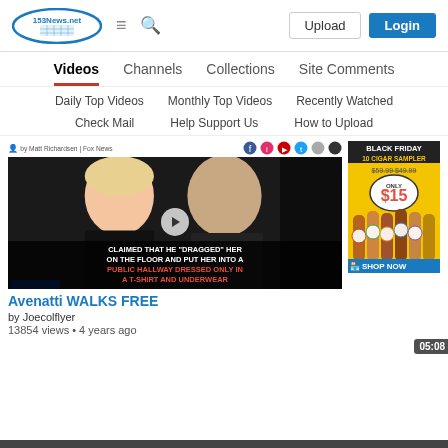153News.net - Upload | Login
Videos | Channels | Collections | Site Comments
Daily Top Videos | Monthly Top Videos | Recently Watched
Check Mail | Help Support Us | How to Upload
[Figure (screenshot): Video thumbnail showing two people at an event with text overlay: CLAIMED THAT HE "DRAGGED" HER ON THE FLOOR AND PUT HER INTO A PUBLIC HALLWAY DRESSED ONLY IN A T-SHIRT AND UNDERWEAR]
[Figure (photo): Black Friday advertisement: 10 Cigar Sampler for $15, Shop Now]
Avenatti WALKS FREE
by Joecolflyer
13854 views • 4 years ago